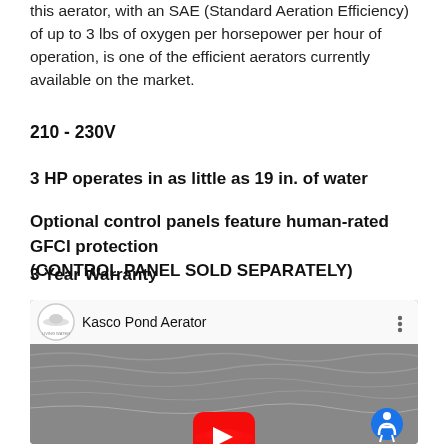this aerator, with an SAE (Standard Aeration Efficiency) of up to 3 lbs of oxygen per horsepower per hour of operation, is one of the efficient aerators currently available on the market.
210 - 230V
3 HP operates in as little as 19 in. of water
Optional control panels feature human-rated GFCI protection
(CONTROL PANEL SOLD SEPARATELY)
3 Year Warranty
[Figure (screenshot): YouTube video embed showing 'Kasco Pond Aerator' with Living Water channel logo, three-dot menu, water background image, YouTube play button, and accessibility icon.]